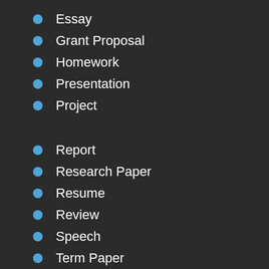Essay
Grant Proposal
Homework
Presentation
Project
Report
Research Paper
Resume
Review
Speech
Term Paper
Thesis